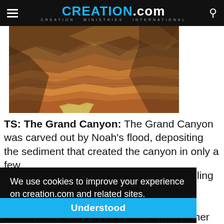CREATION.com — CREATION MINISTRIES INTERNATIONAL
[Figure (photo): Aerial photograph of the Grand Canyon showing layered red and brown rock formations with a river visible at the canyon floor]
TS: The Grand Canyon: The Grand Canyon was carved out by Noah's flood, depositing the sediment that created the canyon in only a few
ling
We use cookies to improve your experience on creation.com and related sites. Privacy Policy
Understood
lowest rock visible would have formed either during Day